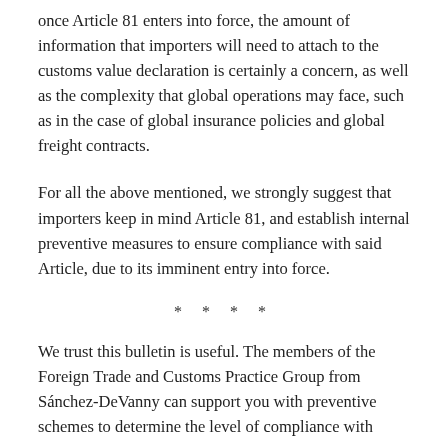once Article 81 enters into force, the amount of information that importers will need to attach to the customs value declaration is certainly a concern, as well as the complexity that global operations may face, such as in the case of global insurance policies and global freight contracts.
For all the above mentioned, we strongly suggest that importers keep in mind Article 81, and establish internal preventive measures to ensure compliance with said Article, due to its imminent entry into force.
* * * *
We trust this bulletin is useful. The members of the Foreign Trade and Customs Practice Group from Sánchez-DeVanny can support you with preventive schemes to determine the level of compliance with